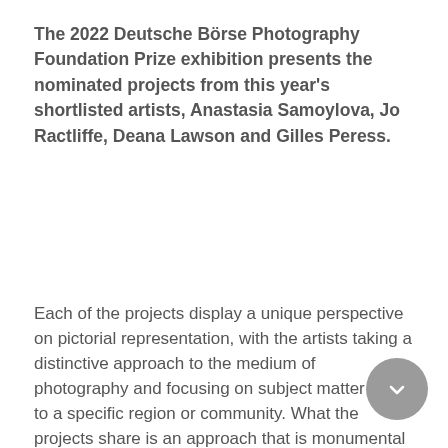The 2022 Deutsche Börse Photography Foundation Prize exhibition presents the nominated projects from this year's shortlisted artists, Anastasia Samoylova, Jo Ractliffe, Deana Lawson and Gilles Peress.
Each of the projects display a unique perspective on pictorial representation, with the artists taking a distinctive approach to the medium of photography and focusing on subject matter linked to a specific region or community. What the projects share is an approach that is monumental in ambition and scale whether that be personal, practical, philosophical or political. The extensive research and commitment reflected in the work